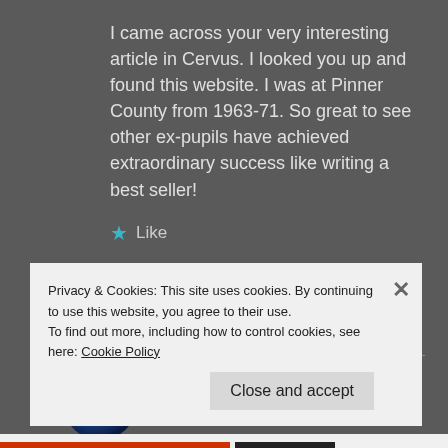I came across your very interesting article in Cervus. I looked you up and found this website. I was at Pinner County from 1963-71. So great to see other ex-pupils have achieved extraordinary success like writing a best seller!
★ Like
REPLY
mattjohnsonauthor
Privacy & Cookies: This site uses cookies. By continuing to use this website, you agree to their use.
To find out more, including how to control cookies, see here: Cookie Policy
Close and accept